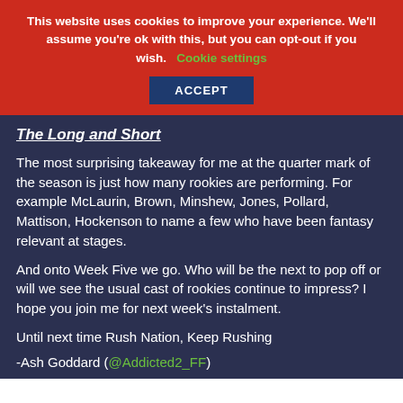This website uses cookies to improve your experience. We'll assume you're ok with this, but you can opt-out if you wish. Cookie settings
ACCEPT
The Long and Short
The most surprising takeaway for me at the quarter mark of the season is just how many rookies are performing. For example McLaurin, Brown, Minshew, Jones, Pollard, Mattison, Hockenson to name a few who have been fantasy relevant at stages.
And onto Week Five we go. Who will be the next to pop off or will we see the usual cast of rookies continue to impress? I hope you join me for next week's instalment.
Until next time Rush Nation, Keep Rushing
-Ash Goddard (@Addicted2_FF)